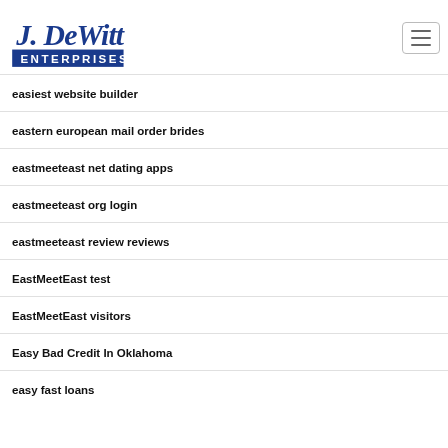J. DeWitt Enterprises Ltd
easiest website builder
eastern european mail order brides
eastmeeteast net dating apps
eastmeeteast org login
eastmeeteast review reviews
EastMeetEast test
EastMeetEast visitors
Easy Bad Credit In Oklahoma
easy fast loans